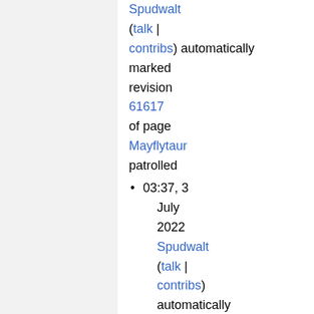Spudwalt (talk | contribs) automatically marked revision 61617 of page Mayflytaur patrolled
03:37, 3 July 2022 Spudwalt (talk | contribs) automatically marked revision 61616